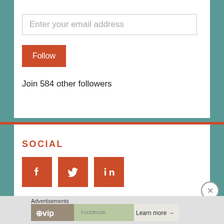Enter your email address
Follow
Join 584 other followers
SOCIAL
[Figure (infographic): Three social media icon buttons: Facebook (f), Twitter (bird), LinkedIn (in) — each on an orange square background]
Advertisements
[Figure (infographic): WordPress VIP advertisement banner with Learn more arrow]